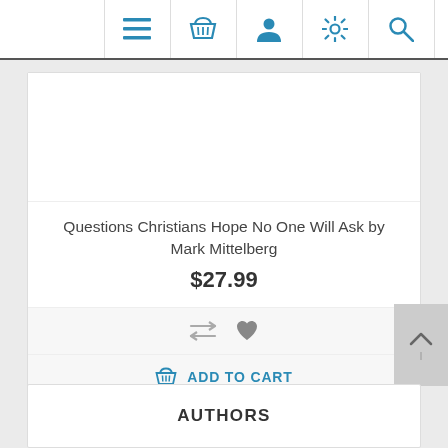Navigation bar with icons: menu, basket, user, settings, search
Questions Christians Hope No One Will Ask by Mark Mittelberg
$27.99
[Figure (infographic): Compare and wishlist icons (arrows and heart)]
[Figure (infographic): Add to cart button with basket icon]
AUTHORS